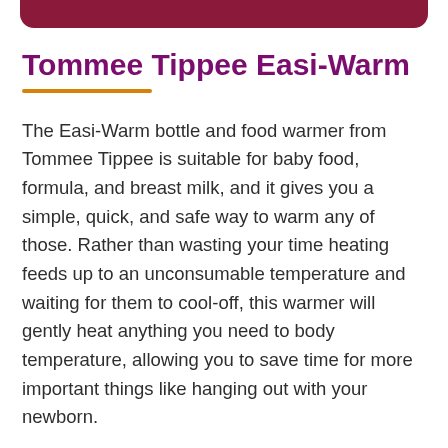Tommee Tippee Easi-Warm
The Easi-Warm bottle and food warmer from Tommee Tippee is suitable for baby food, formula, and breast milk, and it gives you a simple, quick, and safe way to warm any of those. Rather than wasting your time heating feeds up to an unconsumable temperature and waiting for them to cool-off, this warmer will gently heat anything you need to body temperature, allowing you to save time for more important things like hanging out with your newborn.